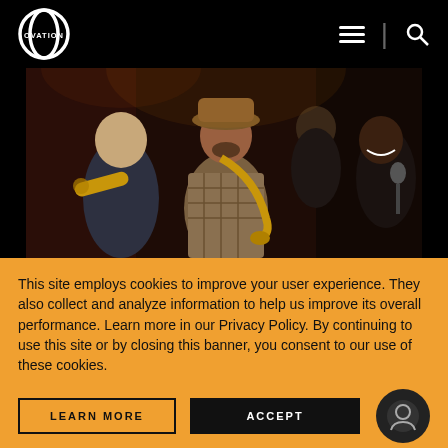OVATION
[Figure (photo): Jazz musicians performing on stage: a bald man playing trumpet on the left, a man in a hat and checkered jacket playing saxophone in the center, a man in background, and a smiling man on the right near a microphone.]
This site employs cookies to improve your user experience. They also collect and analyze information to help us improve its overall performance. Learn more in our Privacy Policy. By continuing to use this site or by closing this banner, you consent to our use of these cookies.
LEARN MORE
ACCEPT